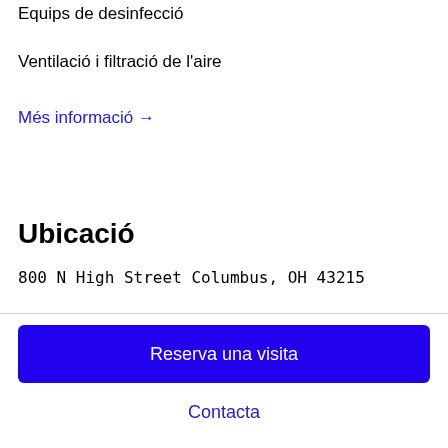Equips de desinfecció
Ventilació i filtració de l'aire
Més informació →
Ubicació
800 N High Street Columbus, OH 43215
Reserva una visita
Contacta